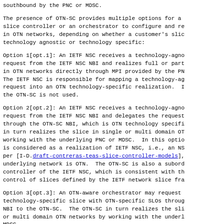southbound by the PNC or MDSC.
The presence of OTN-SC provides multiple options for a slice controller or an orchestrator to configure and re- in OTN networks, depending on whether a customer's slic technology agnostic or technology specific:
Option 1[opt.1]: An IETF NSC receives a technology-agno request from the IETF NSC NBI and realizes full or part in OTN networks directly through MPI provided by the PN The IETF NSC is responsible for mapping a technology-ag request into an OTN technology-specific realization. I the OTN-SC is not used.
Option 2[opt.2]: An IETF NSC receives a technology-agno request from the IETF NSC NBI and delegates the request through the OTN-SC NBI, which is OTN technology specifi in turn realizes the slice in single or multi domain OT working with the underlying PNC or MDSC. In this optio is considered as a realization of IETF NSC, i.e., an NS per [I-D.draft-contreras-teas-slice-controller-models], underlying network is OTN. The OTN-SC is also a subord controller of the IETF NSC, which is consistent with th control of slices defined by the IETF network slice fra
Option 3[opt.3]: An OTN-aware orchestrator may request technology-specific slice with OTN-specific SLOs throug NBI to the OTN-SC. The OTN-SC in turn realizes the sli or multi domain OTN networks by working with the underl MDSC